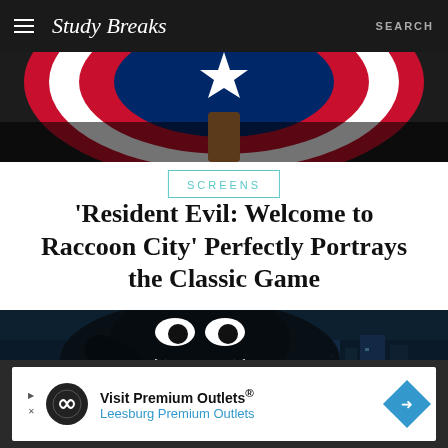Study Breaks — SEARCH
[Figure (photo): Top portion of a Captain America shield illustration with red, white and blue swirl pattern, dark background]
SCREENS
'Resident Evil: Welcome to Raccoon City' Perfectly Portrays the Classic Game
[Figure (photo): Dark movie still showing a black alien creature (Venom-like) with large white eyes and sharp teeth, city in background]
Visit Premium Outlets® Leesburg Premium Outlets